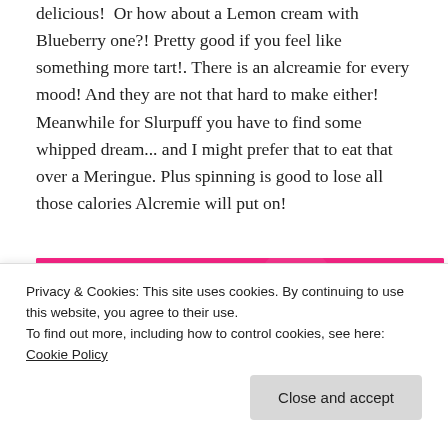delicious!  Or how about a Lemon cream with Blueberry one?! Pretty good if you feel like something more tart!. There is an alcreamie for every mood! And they are not that hard to make either! Meanwhile for Slurpuff you have to find some whipped dream... and I might prefer that to eat that over a Meringue. Plus spinning is good to lose all those calories Alcremie will put on!
[Figure (illustration): A pink/magenta banner image with white bold text reading 'AND THE WINNER IS' on the left side and 'ALCREMIE' on the right side, with a cartoon Alcremie Pokemon character, stars and decorative dots.]
Privacy & Cookies: This site uses cookies. By continuing to use this website, you agree to their use.
To find out more, including how to control cookies, see here: Cookie Policy